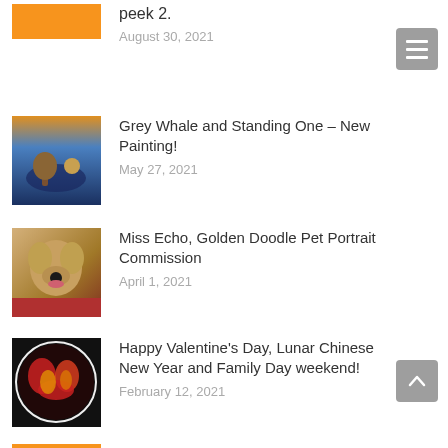peek 2.
August 30, 2021
Grey Whale and Standing One – New Painting!
May 27, 2021
Miss Echo, Golden Doodle Pet Portrait Commission
April 1, 2021
Happy Valentine's Day, Lunar Chinese New Year and Family Day weekend!
February 12, 2021
Fly me to the moon!
January 28, 2021